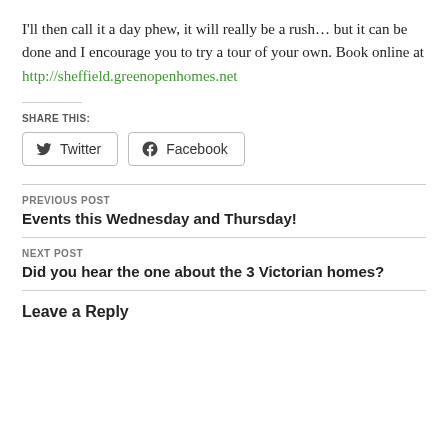I'll then call it a day phew, it will really be a rush… but it can be done and I encourage you to try a tour of your own. Book online at http://sheffield.greenopenhomes.net
SHARE THIS:
Twitter  Facebook
PREVIOUS POST
Events this Wednesday and Thursday!
NEXT POST
Did you hear the one about the 3 Victorian homes?
LEAVE A REPLY